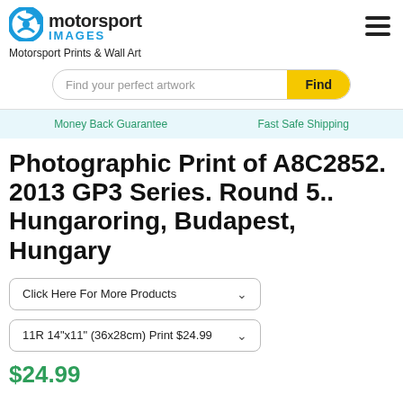motorsport IMAGES
Motorsport Prints & Wall Art
Find your perfect artwork
Money Back Guarantee   Fast Safe Shipping
Photographic Print of A8C2852. 2013 GP3 Series. Round 5.. Hungaroring, Budapest, Hungary
Click Here For More Products
11R 14"x11" (36x28cm) Print $24.99
$24.99